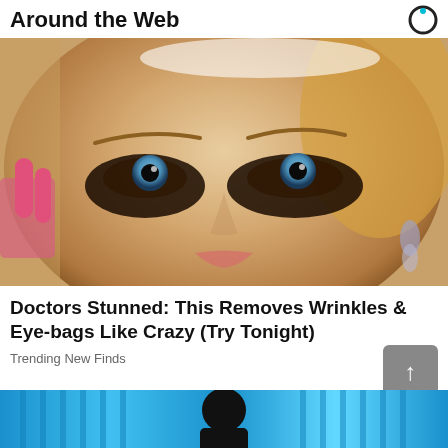Around the Web
[Figure (photo): Close-up photo of a blonde woman with dramatic dark sparkly eye makeup applied around both eyes, holding her face with pink-nailed fingers, wearing a drop earring]
Doctors Stunned: This Removes Wrinkles & Eye-bags Like Crazy (Try Tonight)
Trending New Finds
[Figure (photo): Partial view of a blue-background image at the bottom of the page with a dark figure silhouette visible]